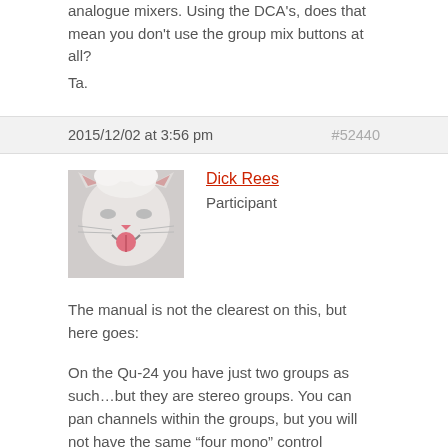analogue mixers. Using the DCA's, does that mean you don't use the group mix buttons at all?
Ta.
2015/12/02 at 3:56 pm
#52440
Dick Rees
Participant
[Figure (photo): Avatar photo of a white cat with mouth open, showing pink tongue]
The manual is not the clearest on this, but here goes:
On the Qu-24 you have just two groups as such…but they are stereo groups. You can pan channels within the groups, but you will not have the same “four mono” control capability as you had in analog world.
As has been pointed out you should use DCA's for level control of your desired groupings. You will have four available, control for each by a single fader.
The primary difference is that groups offer processing for all channels assigned to them while DCA's control only the volume levels.